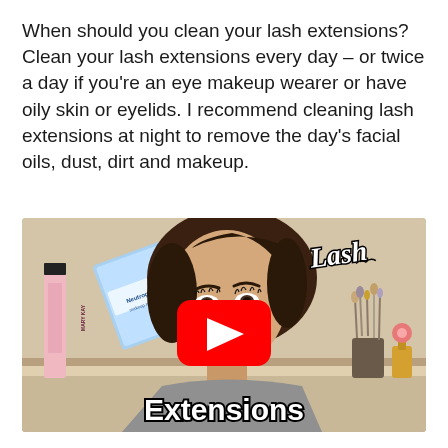When should you clean your lash extensions? Clean your lash extensions every day – or twice a day if you're an eye makeup wearer or have oily skin or eyelids. I recommend cleaning lash extensions at night to remove the day's facial oils, dust, dirt and makeup.
[Figure (screenshot): YouTube video thumbnail showing a woman with lash extensions holding makeup remover products (Mary Kay and Neutrogena makeup wipes). A red YouTube play button is centered on the image. Text overlay reads 'Extensions' at the bottom and 'Lash' in script at the top right.]